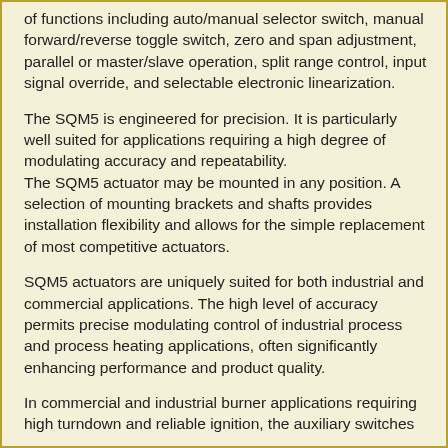of functions including auto/manual selector switch, manual forward/reverse toggle switch, zero and span adjustment, parallel or master/slave operation, split range control, input signal override, and selectable electronic linearization.
The SQM5 is engineered for precision. It is particularly well suited for applications requiring a high degree of modulating accuracy and repeatability.
The SQM5 actuator may be mounted in any position. A selection of mounting brackets and shafts provides installation flexibility and allows for the simple replacement of most competitive actuators.
SQM5 actuators are uniquely suited for both industrial and commercial applications. The high level of accuracy permits precise modulating control of industrial process and process heating applications, often significantly enhancing performance and product quality.
In commercial and industrial burner applications requiring high turndown and reliable ignition, the auxiliary switches can be applied to create separate positions for burner